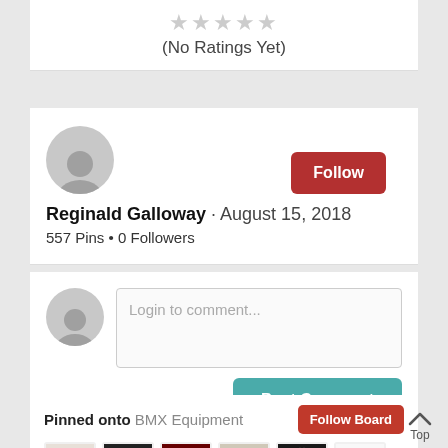★★★★★ (No Ratings Yet)
Reginald Galloway · August 15, 2018
557 Pins • 0 Followers
Login to comment...
Post Comment
Pinned onto BMX Equipment
Follow Board